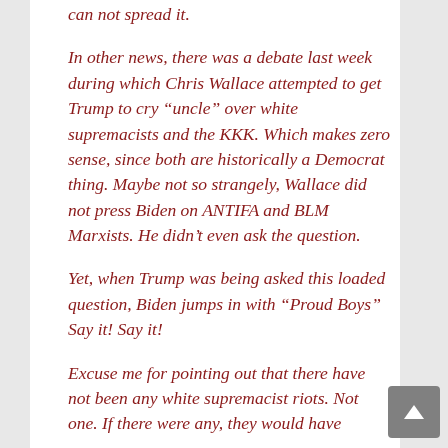can not spread it.
In other news, there was a debate last week during which Chris Wallace attempted to get Trump to cry “uncle” over white supremacists and the KKK. Which makes zero sense, since both are historically a Democrat thing. Maybe not so strangely, Wallace did not press Biden on ANTIFA and BLM Marxists. He didn’t even ask the question.
Yet, when Trump was being asked this loaded question, Biden jumps in with “Proud Boys” Say it! Say it!
Excuse me for pointing out that there have not been any white supremacist riots. Not one. If there were any, they would have